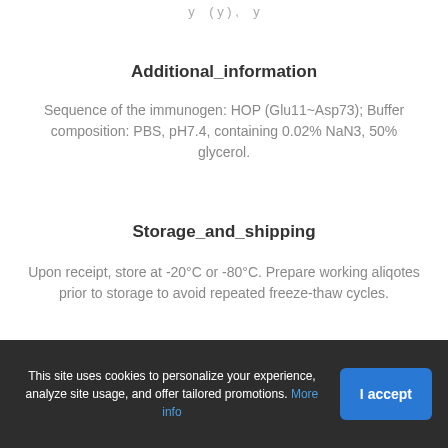y ... ( y ) , ... y
Additional_information
Sequence of the immunogen: HOP (Glu11~Asp73); Buffer composition: PBS, pH7.4, containing 0.02% NaN3, 50% glycerol.
Storage_and_shipping
Upon receipt, store at -20°C or -80°C. Prepare working aliqotes prior to storage to avoid repeated freeze-thaw cycles.
Specifications
... Rabbit Source Recombinant ... Cloning ...
This site uses cookies to personalize your experience, analyze site usage, and offer tailored promotions. More info